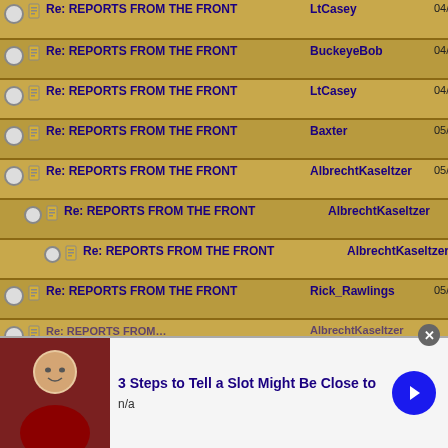Re: REPORTS FROM THE FRONT | LtCasey | 04/09/21 12:41 PM
Re: REPORTS FROM THE FRONT | BuckeyeBob | 04/09/21 03:58 PM
Re: REPORTS FROM THE FRONT | LtCasey | 04/09/21 04:17 PM
Re: REPORTS FROM THE FRONT | Baxter | 05/24/21 01:03 AM
Re: REPORTS FROM THE FRONT | AlbrechtKaseltzer | 05/25/21 12:33 AM
Re: REPORTS FROM THE FRONT | AlbrechtKaseltzer | 05/25/21 03:57 AM
Re: REPORTS FROM THE FRONT | AlbrechtKaseltzer | 05/25/21 08:11 AM
Re: REPORTS FROM THE FRONT | Rick_Rawlings | 05/25/21 12:44 AM
Re: REPORTS FROM... | AlbrechtKaseltzer | ...
[Figure (infographic): Advertisement banner: photo of a man, text '3 Steps to Tell a Slot Might Be Close to', subtitle 'n/a', blue arrow button, close X button]